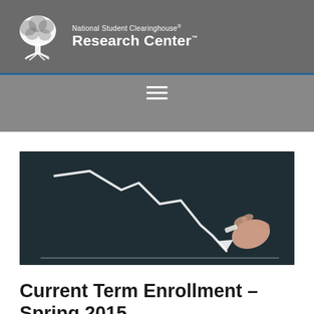National Student Clearinghouse Research Center
[Figure (photo): A hand drawing a downward trending line chart on a chalkboard with chalk]
Current Term Enrollment – Spring 2015